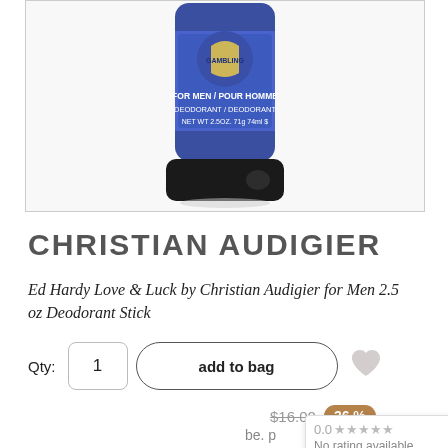[Figure (photo): Product photo of Ed Hardy Love & Luck by Christian Audigier deodorant stick in blue packaging with black cap, showing 'FOR MEN / POUR HOMME DEODORANT / DEODORANT NET WT 2.5OZ. 71g 74ml' text on label]
CHRISTIAN AUDIGIER
Ed Hardy Love & Luck by Christian Audigier for Men 2.5 oz Deodorant Stick
Qty: 1  add to bag
$16.00  36%
be. p
0.0 ★★★★★
No rating available